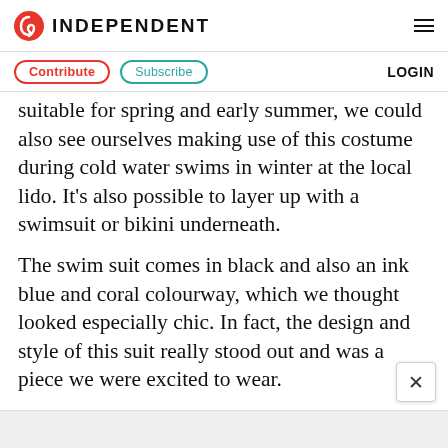INDEPENDENT
Contribute   Subscribe   LOGIN
suitable for spring and early summer, we could also see ourselves making use of this costume during cold water swims in winter at the local lido. It's also possible to layer up with a swimsuit or bikini underneath.
The swim suit comes in black and also an ink blue and coral colourway, which we thought looked especially chic. In fact, the design and style of this suit really stood out and was a piece we were excited to wear.